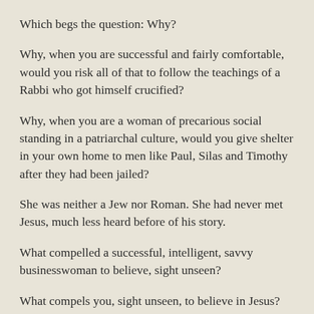Which begs the question: Why?
Why, when you are successful and fairly comfortable, would you risk all of that to follow the teachings of a Rabbi who got himself crucified?
Why, when you are a woman of precarious social standing in a patriarchal culture, would you give shelter in your own home to men like Paul, Silas and Timothy after they had been jailed?
She was neither a Jew nor Roman. She had never met Jesus, much less heard before of his story.
What compelled a successful, intelligent, savvy businesswoman to believe, sight unseen?
What compels you, sight unseen, to believe in Jesus?